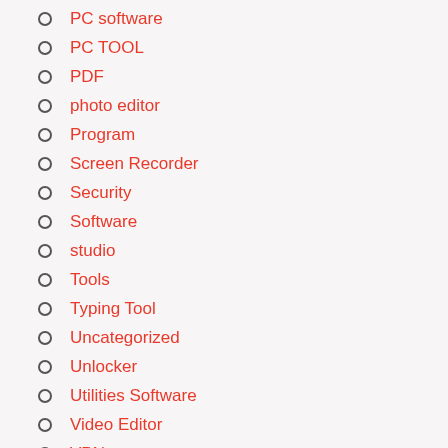PC software
PC TOOL
PDF
photo editor
Program
Screen Recorder
Security
Software
studio
Tools
Typing Tool
Uncategorized
Unlocker
Utilities Software
Video Editor
VPN